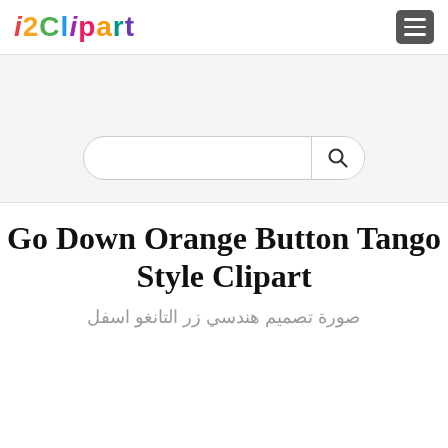i2Clipart
[Figure (screenshot): Search bar with magnifying glass icon on light gray background]
Go Down Orange Button Tango Style Clipart
صورة تصميم هندسي زر التانغو اسفل